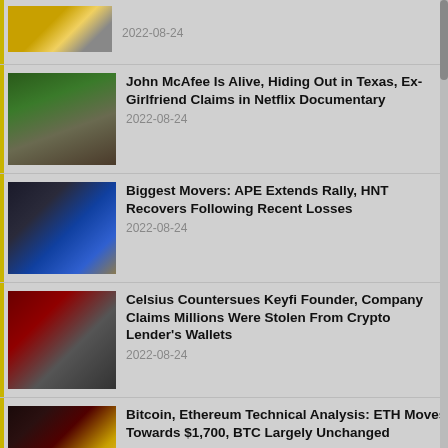[Figure (photo): Partial image of cryptocurrency coins at top]
2022-08-24
[Figure (photo): Photo of John McAfee with sunglasses outdoors]
John McAfee Is Alive, Hiding Out in Texas, Ex-Girlfriend Claims in Netflix Documentary
2022-08-24
[Figure (photo): Blue glowing skull coin on cash bills]
Biggest Movers: APE Extends Rally, HNT Recovers Following Recent Losses
2022-08-24
[Figure (photo): Celsius crypto coin logo on red background]
Celsius Countersues Keyfi Founder, Company Claims Millions Were Stolen From Crypto Lender's Wallets
2022-08-24
[Figure (photo): Ethereum coin with price chart background]
Bitcoin, Ethereum Technical Analysis: ETH Moves Towards $1,700, BTC Largely Unchanged